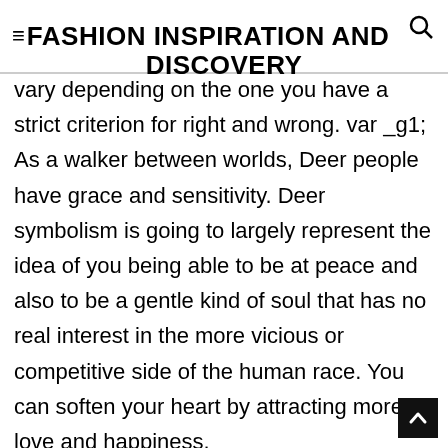≡ FASHION INSPIRATION AND DISCOVERY
vary depending on the one you have a strict criterion for right and wrong. var _g1; As a walker between worlds, Deer people have grace and sensitivity. Deer symbolism is going to largely represent the idea of you being able to be at peace and also to be a gentle kind of soul that has no real interest in the more vicious or competitive side of the human race. You can soften your heart by attracting more love and happiness. _g1.classList.remove('lazyload'); An animal spirit guide—also called a power animal or animal totem—is a messenger or teacher